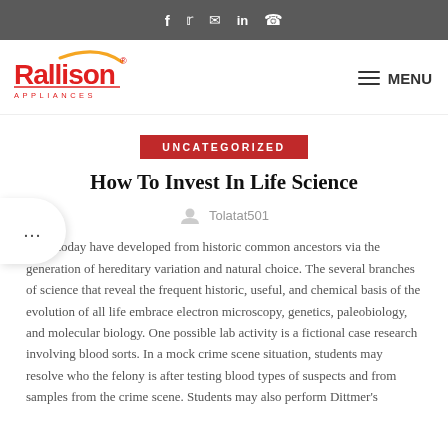Social media icons: f, twitter, email, in, whatsapp
[Figure (logo): Rallison Appliances logo with red text and orange arc accent]
MENU
UNCATEGORIZED
How To Invest In Life Science
Tolatat501
Earth today have developed from historic common ancestors via the generation of hereditary variation and natural choice. The several branches of science that reveal the frequent historic, useful, and chemical basis of the evolution of all life embrace electron microscopy, genetics, paleobiology, and molecular biology. One possible lab activity is a fictional case research involving blood sorts. In a mock crime scene situation, students may resolve who the felony is after testing blood types of suspects and from samples from the crime scene. Students may also perform Dittmer's